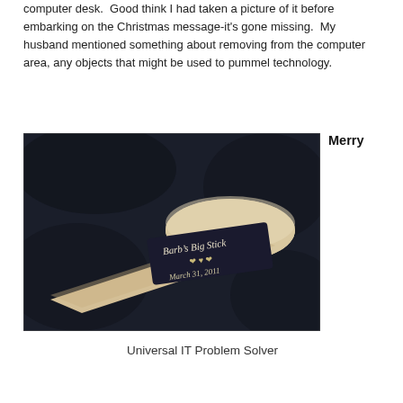computer desk.  Good think I had taken a picture of it before embarking on the Christmas message-it's gone missing.  My husband mentioned something about removing from the computer area, any objects that might be used to pummel technology.
Merry
[Figure (photo): A wooden baseball bat with a black engraved label reading 'Barb's Big Stick' and 'March 31, 2011', photographed against a dark background.]
Universal IT Problem Solver